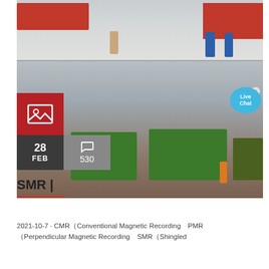[Figure (photo): Two-part construction site photo: top shows workers and red trucks on a dusty site; bottom shows heavy green drilling/mining machinery with a worker in orange on red soil]
SMR |
2021-10-7 · CMR（Conventional Magnetic Recording　PMR（Perpendicular Magnetic Recording　SMR（Shingled